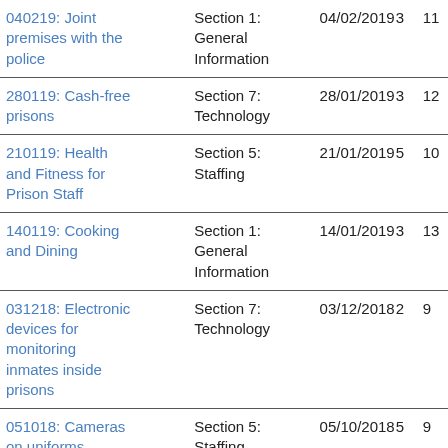| Title | Section | Date | Col4 | Col5 |
| --- | --- | --- | --- | --- |
| 040219: Joint premises with the police | Section 1: General Information | 04/02/2019 | 3 | 11 |
| 280119: Cash-free prisons | Section 7: Technology | 28/01/2019 | 3 | 12 |
| 210119: Health and Fitness for Prison Staff | Section 5: Staffing | 21/01/2019 | 5 | 10 |
| 140119: Cooking and Dining | Section 1: General Information | 14/01/2019 | 3 | 13 |
| 031218: Electronic devices for monitoring inmates inside prisons | Section 7: Technology | 03/12/2018 | 2 | 9 |
| 051018: Cameras on uniforms | Section 5: Staffing | 05/10/2018 | 5 | 9 |
| 250918: Staff Absence | Section 5: Staffing | 25/09/2018 | 5 | 8 |